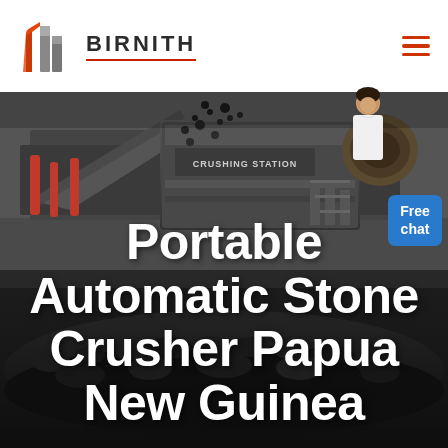[Figure (logo): Birnith company logo with orange/red building icon and brand name BIRNITH in bold dark letters with red underline, and hamburger menu icon on the right]
[Figure (photo): Dark industrial scene showing a portable stone crushing station with heavy machinery, conveyor belts, and crushed stone/coal in the foreground. Label 'CRUSHING STATION' visible on machine.]
Portable Automatic Stone Crusher Papua New Guinea